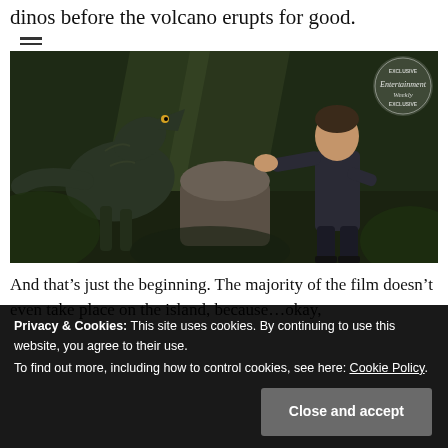dinos before the volcano erupts for good.
[Figure (photo): Scene from Jurassic World: Fallen Kingdom showing a man (Chris Pratt) with hand outstretched toward a raptor (Blue) in a jungle setting. Entertainment Weekly Exclusive watermark in upper right corner.]
And that’s just the beginning. The majority of the film doesn’t even take place on the island, because…okay,
Privacy & Cookies: This site uses cookies. By continuing to use this website, you agree to their use.
To find out more, including how to control cookies, see here: Cookie Policy.